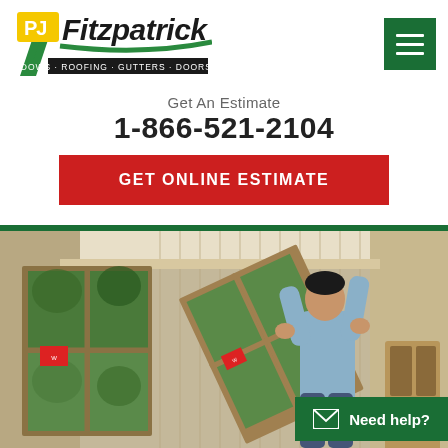[Figure (logo): PJ Fitzpatrick logo with tagline: WINDOWS · ROOFING · GUTTERS · DOORS · BATHS]
Get An Estimate
1-866-521-2104
GET ONLINE ESTIMATE
[Figure (photo): A man installing a wooden window frame inside a room with multiple windows showing green trees outside.]
Need help?